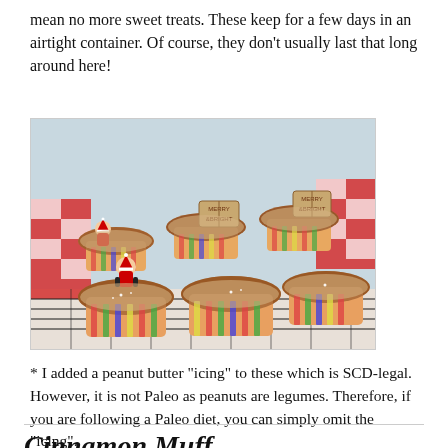mean no more sweet treats. These keep for a few days in an airtight container. Of course, they don’t usually last that long around here!
[Figure (photo): Christmas cupcakes in colorful striped paper cups on a wire cooling rack, decorated with Santa Claus picks and Merry Christmas tags, with a red and white checkered ribbon in the background.]
* I added a peanut butter “icing” to these which is SCD-legal. However, it is not Paleo as peanuts are legumes. Therefore, if you are following a Paleo diet, you can simply omit the “icing”.
Cinnamon Muffin...